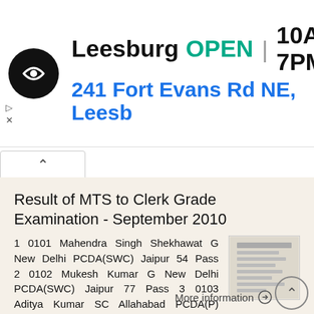[Figure (screenshot): Advertisement banner for a store location. Shows a black circular logo with arrows, store name 'Leesburg', status 'OPEN', hours '10AM-7PM', address '241 Fort Evans Rd NE, Leesb', and a blue navigation/directions icon.]
Result of MTS to Clerk Grade Examination - September 2010
1 0101 Mahendra Singh Shekhawat G New Delhi PCDA(SWC) Jaipur 54 Pass 2 0102 Mukesh Kumar G New Delhi PCDA(SWC) Jaipur 77 Pass 3 0103 Aditya Kumar SC Allahabad PCDA(P) Allahabad 66 Pass 4 0104 Anil Kumar
More information